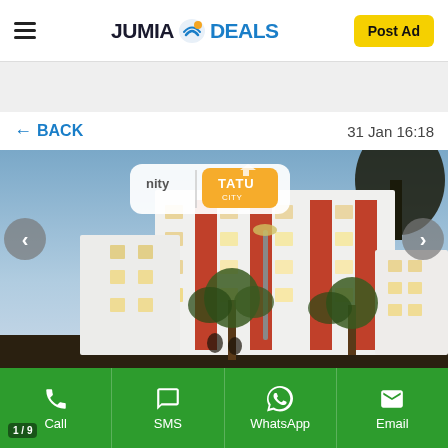JUMIA DEALS — Post Ad
[Figure (screenshot): Gray advertisement banner strip]
← BACK    31 Jan 16:18
[Figure (photo): Photo of white multi-storey apartment building with red balcony accents and palm trees, branded with 'nity | TATU CITY' logo overlay. Dusk/evening sky.]
1 / 9 Call   SMS   WhatsApp   Email